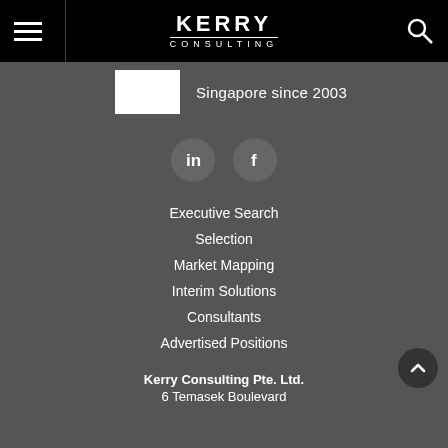Kerry Consulting
Singapore since 2003
[Figure (other): LinkedIn and Facebook social media icon buttons]
Executive Search
Selection
Market Mapping
Interim Solutions
Consultants
Advertised Positions
Kerry Consulting Pte. Ltd.
6 Temasek Boulevard